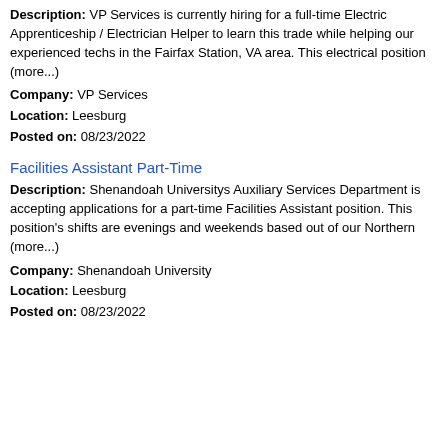Description: VP Services is currently hiring for a full-time Electric Apprenticeship / Electrician Helper to learn this trade while helping our experienced techs in the Fairfax Station, VA area. This electrical position (more...)
Company: VP Services
Location: Leesburg
Posted on: 08/23/2022
Facilities Assistant Part-Time
Description: Shenandoah Universitys Auxiliary Services Department is accepting applications for a part-time Facilities Assistant position. This position's shifts are evenings and weekends based out of our Northern (more...)
Company: Shenandoah University
Location: Leesburg
Posted on: 08/23/2022